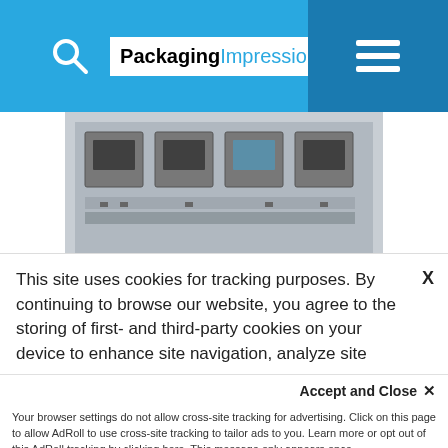Packaging Impressions
[Figure (photo): Industrial inkjet printing machine hardware, top-down view showing multiple print heads and electronic components]
[Figure (infographic): Teal/dark cyan advertisement panel with text: ADD PROCESS COLOR INKJET]
This site uses cookies for tracking purposes. By continuing to browse our website, you agree to the storing of first- and third-party cookies on your device to enhance site navigation, analyze site usage, and assist in our marketing and
Accept and Close ✕
Your browser settings do not allow cross-site tracking for advertising. Click on this page to allow AdRoll to use cross-site tracking to tailor ads to you. Learn more or opt out of this AdRoll tracking by clicking here. This message only appears once.